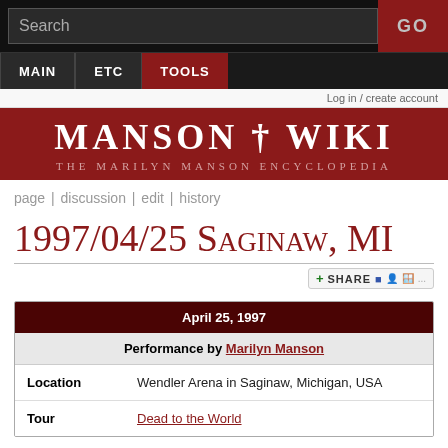Search | GO
MAIN | ETC | TOOLS
Log in / create account
MANSON † WIKI — THE MARILYN MANSON ENCYCLOPEDIA
page | discussion | edit | history
1997/04/25 Saginaw, MI
| April 25, 1997 |
| --- |
| Performance by Marilyn Manson |
| Location | Wendler Arena in Saginaw, Michigan, USA |
| Tour | Dead to the World |